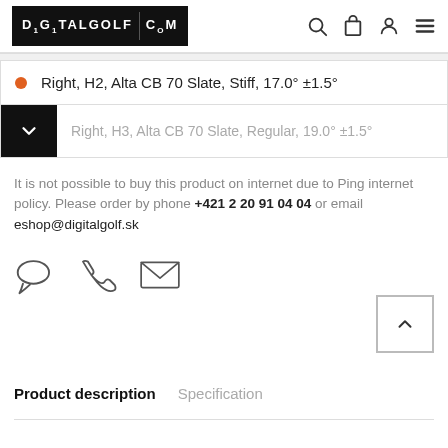DIGITALGOLF.COM
Right, H2, Alta CB 70 Slate, Stiff, 17.0° ±1.5°
Right, H3, Alta CB 70 Slate, Regular, 19.0° ±1.5°
It is not possible to buy this product on internet due to Ping internet policy. Please order by phone +421 2 20 91 04 04 or email eshop@digitalgolf.sk
[Figure (infographic): Three contact icons: chat bubble, phone handset, envelope]
Product description   Specification